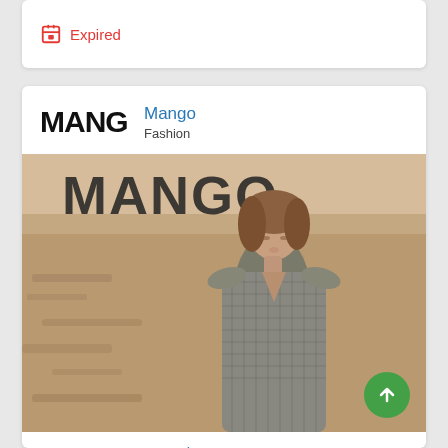Expired
[Figure (photo): Mango fashion brand promotional image showing a woman in a grey checkered sleeveless dress outdoors in a desert-like setting, with Mango logo text overlay]
Mango
Fashion
30% - 70% Sale at Mango, August 2017